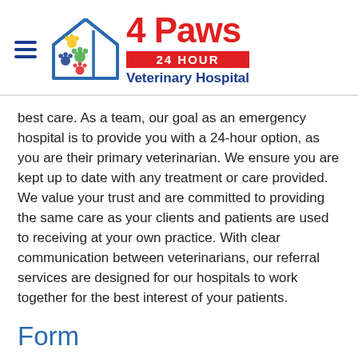[Figure (logo): 4 Paws 24 Hour Veterinary Hospital logo with house icon containing colorful paw prints]
best care. As a team, our goal as an emergency hospital is to provide you with a 24-hour option, as you are their primary veterinarian. We ensure you are kept up to date with any treatment or care provided. We value your trust and are committed to providing the same care as your clients and patients are used to receiving at your own practice. With clear communication between veterinarians, our referral services are designed for our hospitals to work together for the best interest of your patients.
Form